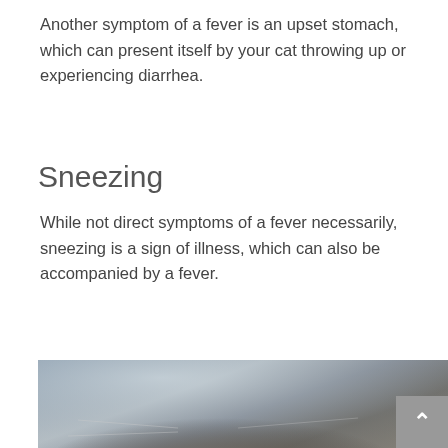Another symptom of a fever is an upset stomach, which can present itself by your cat throwing up or experiencing diarrhea.
Sneezing
While not direct symptoms of a fever necessarily, sneezing is a sign of illness, which can also be accompanied by a fever.
[Figure (photo): Close-up photo of a cat lying down, blurred bokeh background in blue-grey tones]